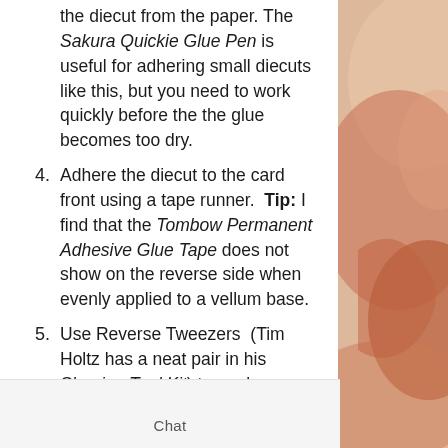the diecut from the paper. The Sakura Quickie Glue Pen is useful for adhering small diecuts like this, but you need to work quickly before the the glue becomes too dry.
4. Adhere the diecut to the card front using a tape runner. Tip: I find that the Tombow Permanent Adhesive Glue Tape does not show on the reverse side when evenly applied to a vellum base.
5. Use Reverse Tweezers (Tim Holtz has a neat pair in his Shaping Tool Kit) to apply a
Chat